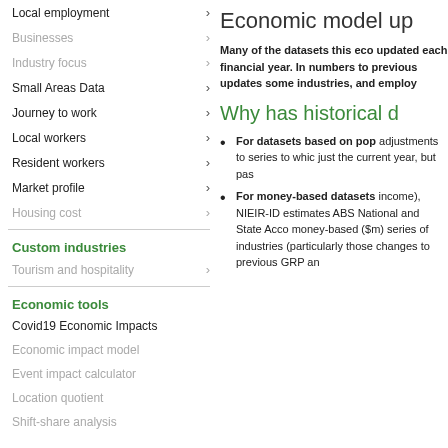Local employment
Businesses
Industry focus
Small Areas Data
Journey to work
Local workers
Resident workers
Market profile
Housing cost
Custom industries
Tourism and hospitality
Economic tools
Covid19 Economic Impacts
Economic impact model
Event impact calculator
Location quotient
Shift-share analysis
Economic model up
Many of the datasets this eco updated each financial year. In numbers to previous updates some industries, and employ
Why has historical d
For datasets based on pop adjustments to series to whic just the current year, but pas
For money-based datasets income), NIEIR-ID estimates ABS National and State Acco money-based ($m) series of industries (particularly those changes to previous GRP an